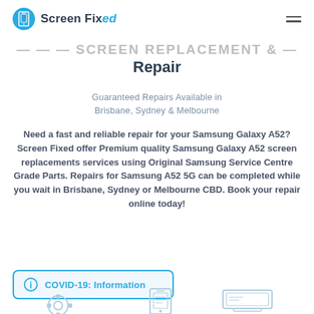Screen Fixed
…Screen Replacement & Repair
Guaranteed Repairs Available in Brisbane, Sydney & Melbourne
Need a fast and reliable repair for your Samsung Galaxy A52? Screen Fixed offer Premium quality Samsung Galaxy A52 screen replacements services using Original Samsung Service Centre Grade Parts. Repairs for Samsung A52 5G can be completed while you wait in Brisbane, Sydney or Melbourne CBD. Book your repair online today!
COVID-19: Information
[Figure (illustration): Bottom icons showing phone repair equipment]